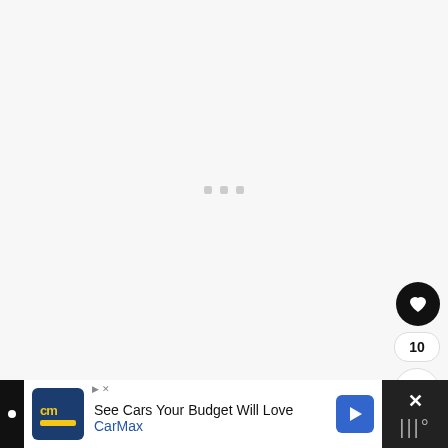[Figure (screenshot): Loading placeholder area with three small gray dots in the center on a light gray background]
[Figure (other): Floating action button (heart/like icon) in black circle, count badge showing 10, share button in white circle]
Swagger on over here
[Figure (other): CarMax advertisement banner: logo, text 'See Cars Your Budget Will Love' and 'CarMax', blue arrow icon, close button with X]